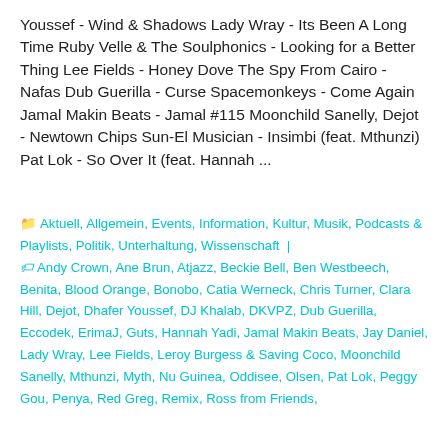Youssef - Wind & Shadows Lady Wray - Its Been A Long Time Ruby Velle & The Soulphonics - Looking for a Better Thing Lee Fields - Honey Dove The Spy From Cairo - Nafas Dub Guerilla - Curse Spacemonkeys - Come Again Jamal Makin Beats - Jamal #115 Moonchild Sanelly, Dejot - Newtown Chips Sun-El Musician - Insimbi (feat. Mthunzi) Pat Lok - So Over It (feat. Hannah ...
Aktuell, Allgemein, Events, Information, Kultur, Musik, Podcasts & Playlists, Politik, Unterhaltung, Wissenschaft | Andy Crown, Ane Brun, Atjazz, Beckie Bell, Ben Westbeech, Benita, Blood Orange, Bonobo, Catia Werneck, Chris Turner, Clara Hill, Dejot, Dhafer Youssef, DJ Khalab, DKVPZ, Dub Guerilla, Eccodek, ErimaJ, Guts, Hannah Yadi, Jamal Makin Beats, Jay Daniel, Lady Wray, Lee Fields, Leroy Burgess & Saving Coco, Moonchild Sanelly, Mthunzi, Myth, Nu Guinea, Oddisee, Olsen, Pat Lok, Peggy Gou, Penya, Red Greg, Remix, Ross from Friends,